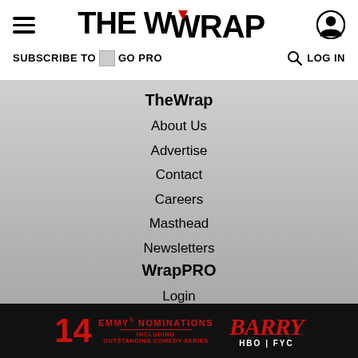THE WRAP
SUBSCRIBE TO GO PRO
LOG IN
TheWrap
About Us
Advertise
Contact
Careers
Masthead
Newsletters
WrapPRO
Login
Subscribe
Team Plan
Learn More
Legal
[Figure (infographic): Ad banner: 14 EMMY NOMINATIONS INCLUDING OUTSTANDING COMEDY SERIES — BARRY HBO FYC]